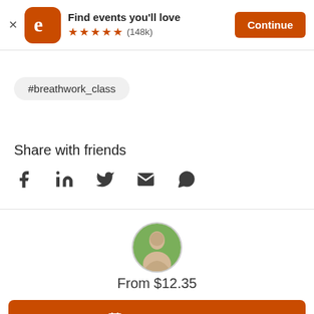[Figure (screenshot): Eventbrite app banner with logo, 'Find events you'll love', 5-star rating (148k), and Continue button]
#breathwork_class
Share with friends
[Figure (infographic): Social sharing icons: Facebook, LinkedIn, Twitter, Email, WhatsApp]
[Figure (photo): Circular profile photo of a person with greenery background, partially visible]
From $12.35
Select a date